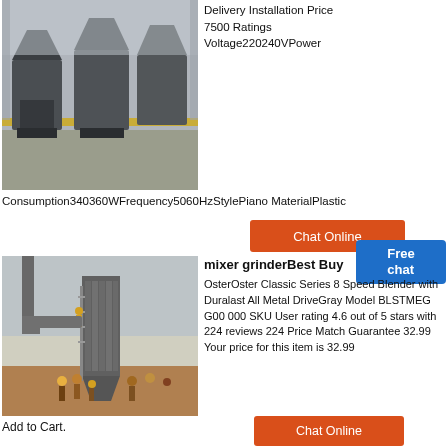[Figure (photo): Industrial cone crushers or grinders in a factory/warehouse setting, gray machinery on gravel floor with yellow infrastructure in background]
Delivery Installation Price 7500 Ratings Voltage220240VPower
Consumption340360WFrequency5060HzStylePiano MaterialPlastic
[Figure (other): Orange Chat Online button with woman customer service representative illustration]
[Figure (other): Blue Free chat button]
[Figure (photo): Industrial dust collector or filter tower at a mining/construction site, workers on ladders and standing around the equipment outdoors]
mixer grinderBest Buy
OsterOster Classic Series 8 Speed Blender with Duralast All Metal DriveGray Model BLSTMEG G00 000 SKU User rating 4.6 out of 5 stars with 224 reviews 224 Price Match Guarantee 32.99 Your price for this item is 32.99
Add to Cart.
[Figure (other): Orange Chat Online button]